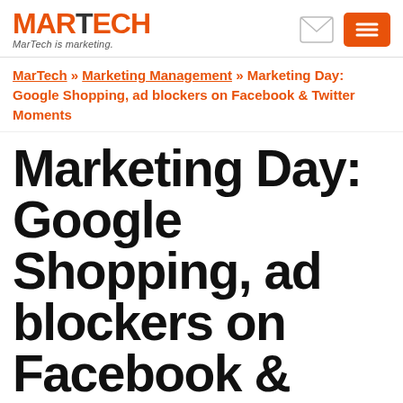MARTECH — MarTech is marketing.
MarTech » Marketing Management » Marketing Day: Google Shopping, ad blockers on Facebook & Twitter Moments
Marketing Day: Google Shopping, ad blockers on Facebook & Twitter Moments
Here's our recap of what happened in online marketing today, as reported on